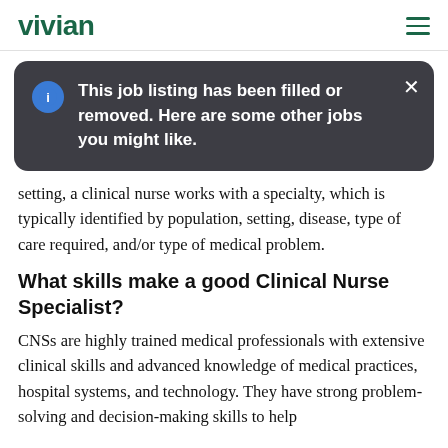vivian
This job listing has been filled or removed. Here are some other jobs you might like.
setting, a clinical nurse works with a specialty, which is typically identified by population, setting, disease, type of care required, and/or type of medical problem.
What skills make a good Clinical Nurse Specialist?
CNSs are highly trained medical professionals with extensive clinical skills and advanced knowledge of medical practices, hospital systems, and technology. They have strong problem-solving and decision-making skills to help